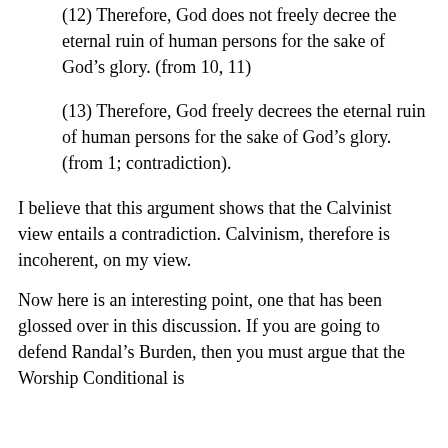(12) Therefore, God does not freely decree the eternal ruin of human persons for the sake of God’s glory. (from 10, 11)
(13) Therefore, God freely decrees the eternal ruin of human persons for the sake of God’s glory. (from 1; contradiction).
I believe that this argument shows that the Calvinist view entails a contradiction. Calvinism, therefore is incoherent, on my view.
Now here is an interesting point, one that has been glossed over in this discussion. If you are going to defend Randal’s Burden, then you must argue that the Worship Conditional is